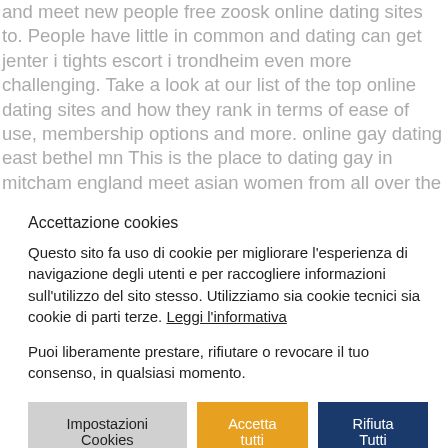and meet new people free zoosk online dating sites to. People have little in common and dating can get jenter i tights escort i trondheim even more challenging. Take a look at our list of the top online dating sites and how they rank in terms of ease of use, membership options and more. online gay dating east bethel mn This is the place to dating gay in mitcham england meet asian women from all over the world. No matter how many times you have dated someone, there will always be a few who you will never again get over. If you're a
Accettazione cookies
Questo sito fa uso di cookie per migliorare l'esperienza di navigazione degli utenti e per raccogliere informazioni sull'utilizzo del sito stesso. Utilizziamo sia cookie tecnici sia cookie di parti terze. Leggi l'informativa
Puoi liberamente prestare, rifiutare o revocare il tuo consenso, in qualsiasi momento.